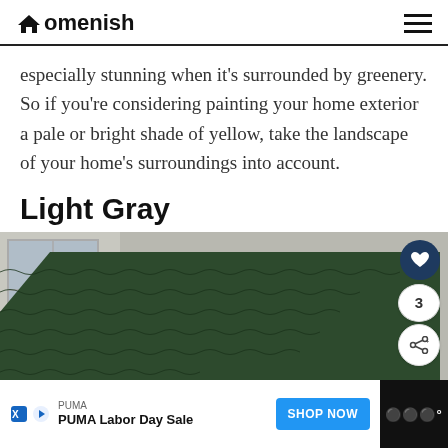Homenish
especially stunning when it's surrounded by greenery. So if you're considering painting your home exterior a pale or bright shade of yellow, take the landscape of your home's surroundings into account.
Light Gray
[Figure (photo): Close-up photo of a dark green shingle roof with a light gray exterior wall and window visible in the background.]
PUMA Labor Day Sale